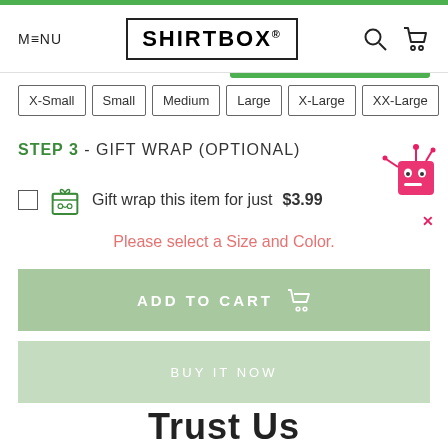MENU | SHIRTBOX® | [search] [cart]
X-Small
Small
Medium
Large
X-Large
XX-Large
STEP 3 - GIFT WRAP (OPTIONAL)
Gift wrap this item for just $3.99
Please select a Size and Color.
ADD TO CART
BUY IT NOW
Trust Us